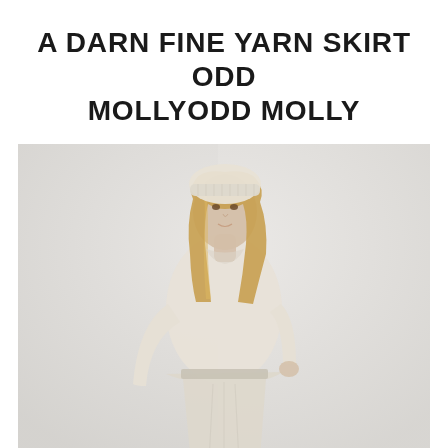A DARN FINE YARN SKIRT ODD MOLLYODD MOLLY
[Figure (photo): A blonde woman wearing a cream/off-white knit beanie hat, cream long-sleeve sweater top, and a cream/off-white A-line knit skirt, posed against a light grey-white background in a fashion product photo.]